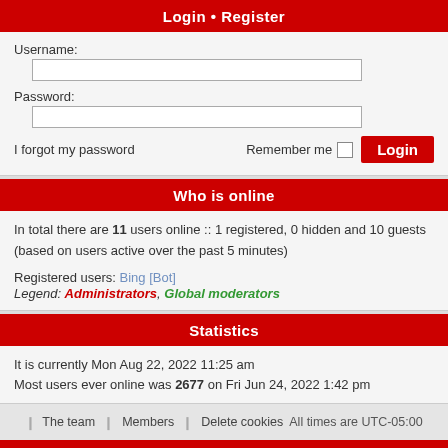Login • Register
Username:
Password:
I forgot my password   Remember me  Login
Who is online
In total there are 11 users online :: 1 registered, 0 hidden and 10 guests (based on users active over the past 5 minutes)
Registered users: Bing [Bot]
Legend: Administrators, Global moderators
Statistics
It is currently Mon Aug 22, 2022 11:25 am
Most users ever online was 2677 on Fri Jun 24, 2022 1:42 pm
Total posts 23423 • Total topics 4839 • Total members 6827 • Our newest member tntbabin@gmail.com
❙ The team  ❙ Members  ❙ Delete cookies  All times are UTC-05:00